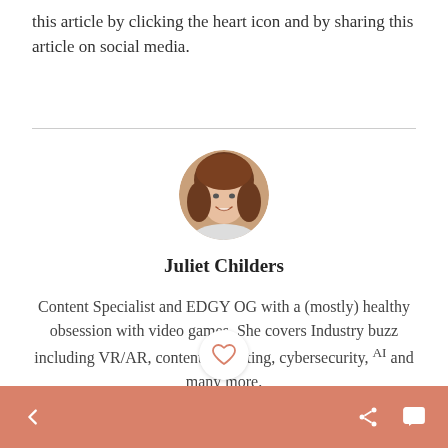this article by clicking the heart icon and by sharing this article on social media.
[Figure (photo): Circular profile photo of Juliet Childers, a smiling woman with brown hair]
Juliet Childers
Content Specialist and EDGY OG with a (mostly) healthy obsession with video games. She covers Industry buzz including VR/AR, content marketing, cybersecurity, AI and many more.
Back, Share, and Comment navigation bar